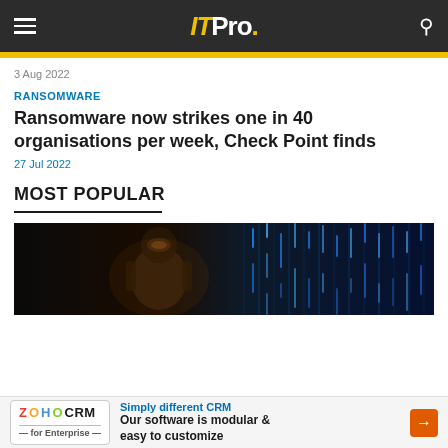IT Pro.
3 Aug 2022
RANSOMWARE
Ransomware now strikes one in 40 organisations per week, Check Point finds
27 Jul 2022
MOST POPULAR
[Figure (photo): Dark cybersecurity themed image showing a robotic figure with digital blue matrix-style data streams]
Simply different CRM Our software is modular & easy to customize